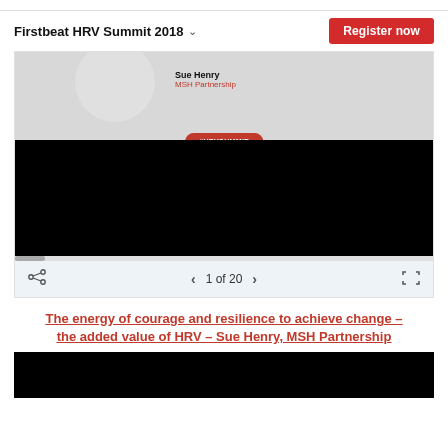Firstbeat HRV Summit 2018 ∨
Register now
[Figure (screenshot): Slideshow viewer showing a presentation slide with a speaker photo area, name 'Sue Henry', organization 'MSH Partnership', a red badge reading '#HRVSUMMIT', and a black lower portion. Navigation controls show '1 of 20' with share and fullscreen icons.]
The energy of courage and resilience to achieve change – the added value of HRV – Sue Henry, MSH Partnership
[Figure (screenshot): Black video player area at bottom of page.]